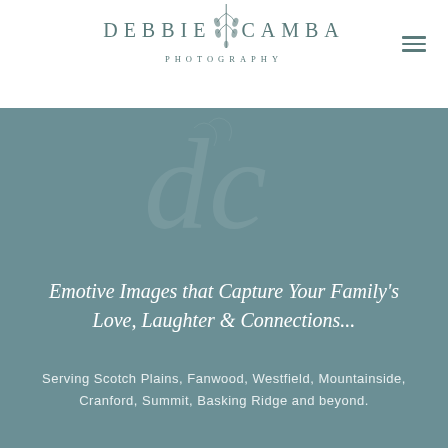[Figure (logo): Debbie Camba Photography logo with botanical branch illustration and text]
[Figure (illustration): Semi-transparent watermark monogram 'dc' in light color on teal background]
Emotive Images that Capture Your Family's Love, Laughter & Connections...
Serving Scotch Plains, Fanwood, Westfield, Mountainside, Cranford, Summit, Basking Ridge and beyond.